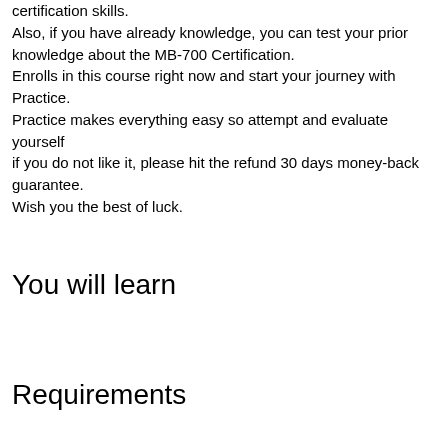certification skills. Also, if you have already knowledge, you can test your prior knowledge about the MB-700 Certification. Enrolls in this course right now and start your journey with Practice. Practice makes everything easy so attempt and evaluate yourself if you do not like it, please hit the refund 30 days money-back guarantee. Wish you the best of luck.
You will learn
Requirements